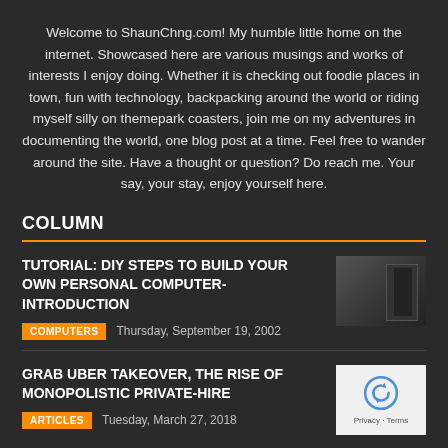Welcome to ShaunChng.com! My humble little home on the internet. Showcased here are various musings and works of interests I enjoy doing. Whether it is checking out foodie places in town, fun with technology, backpacking around the world or riding myself silly on themepark coasters, join me on my adventures in documenting the world, one blog post at a time. Feel free to wander around the site. Have a thought or question? Do reach me. Your say, your stay, enjoy yourself here.
COLUMN
TUTORIAL: DIY STEPS TO BUILD YOUR OWN PERSONAL COMPUTER- INTRODUCTION
COMPUTERS   Thursday, September 19, 2002
[Figure (photo): Dark photo of computer components or tower]
GRAB UBER TAKEOVER, THE RISE OF MONOPOLISTIC PRIVATE-HIRE
ARTICLES   Tuesday, March 27, 2018
[Figure (photo): reCAPTCHA logo on white background with Privacy Terms text]